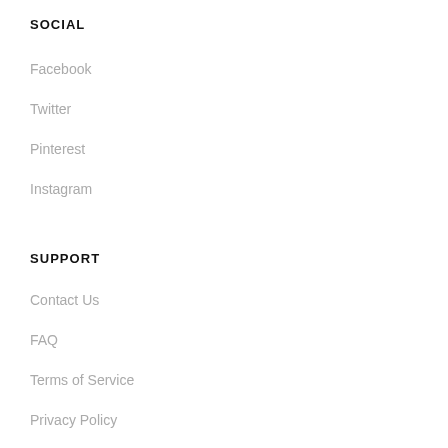SOCIAL
Facebook
Twitter
Pinterest
Instagram
SUPPORT
Contact Us
FAQ
Terms of Service
Privacy Policy
Reseller Policy